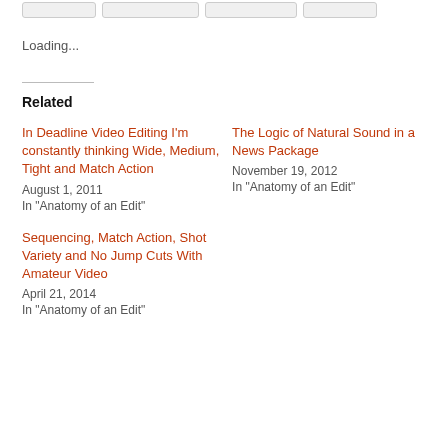Loading...
Related
In Deadline Video Editing I'm constantly thinking Wide, Medium, Tight and Match Action
August 1, 2011
In "Anatomy of an Edit"
The Logic of Natural Sound in a News Package
November 19, 2012
In "Anatomy of an Edit"
Sequencing, Match Action, Shot Variety and No Jump Cuts With Amateur Video
April 21, 2014
In "Anatomy of an Edit"